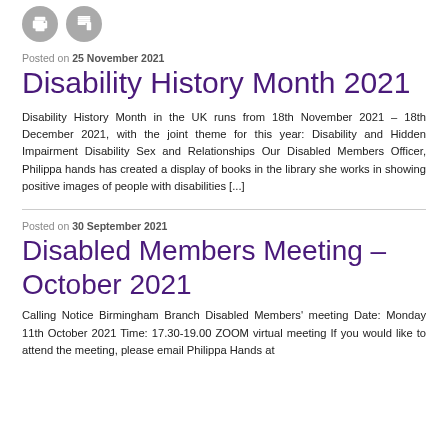[Figure (other): Two circular icon buttons (print and bookmark icons) in grey]
Posted on 25 November 2021
Disability History Month 2021
Disability History Month in the UK runs from 18th November 2021 – 18th December 2021, with the joint theme for this year: Disability and Hidden Impairment Disability Sex and Relationships Our Disabled Members Officer, Philippa hands has created a display of books in the library she works in showing positive images of people with disabilities [...]
Posted on 30 September 2021
Disabled Members Meeting – October 2021
Calling Notice Birmingham Branch Disabled Members' meeting Date: Monday 11th October 2021 Time: 17.30-19.00 ZOOM virtual meeting If you would like to attend the meeting, please email Philippa Hands at